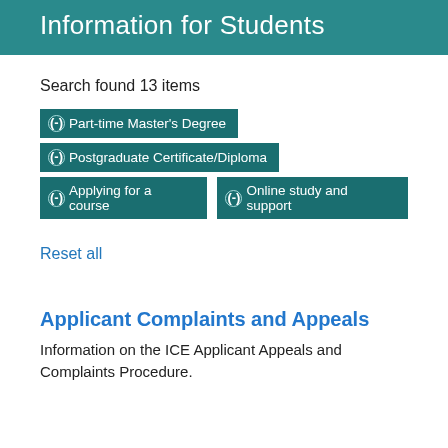Information for Students
Search found 13 items
(-) Part-time Master's Degree
(-) Postgraduate Certificate/Diploma
(-) Applying for a course
(-) Online study and support
Reset all
Applicant Complaints and Appeals
Information on the ICE Applicant Appeals and Complaints Procedure.